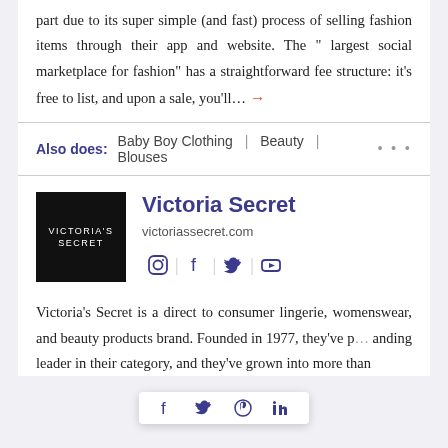part due to its super simple (and fast) process of selling fashion items through their app and website. The " largest social marketplace for fashion" has a straightforward fee structure: it's free to list, and upon a sale, you'll... →
Also does: Baby Boy Clothing | Beauty | Blouses ···
[Figure (logo): Victoria's Secret black logo square with white text]
Victoria Secret
victoriassecret.com
[Figure (infographic): Social media icons: Instagram, Facebook, Twitter, YouTube]
Victoria's Secret is a direct to consumer lingerie, womenswear, and beauty products brand. Founded in 1977, they've p[...] anding leader in their category, and they've grown into more than
[Figure (infographic): Share bar with Facebook, Twitter, Pinterest, LinkedIn icons]